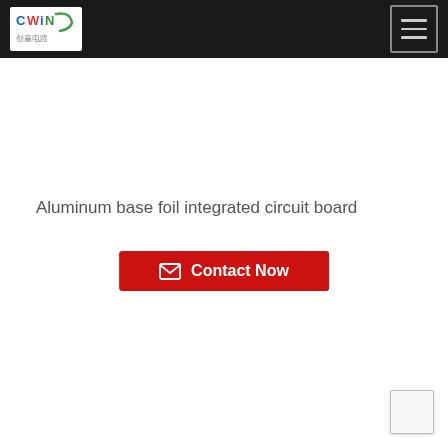[Figure (logo): CWiN company logo with Chinese characters, white background, colorful text]
Aluminum base foil integrated circuit board
Contact Now